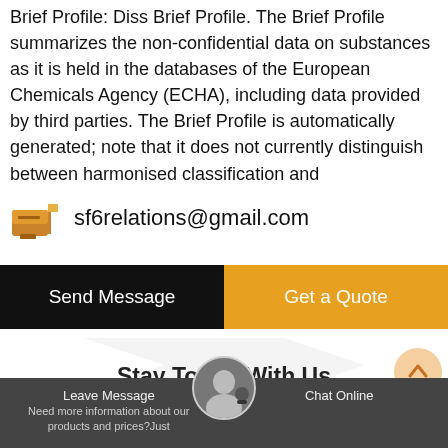Brief Profile: Diss Brief Profile. The Brief Profile summarizes the non-confidential data on substances as it is held in the databases of the European Chemicals Agency (ECHA), including data provided by third parties. The Brief Profile is automatically generated; note that it does not currently distinguish between harmonised classification and
sf6relations@gmail.com
Send Message
Get a Quote
Stay Touch With Us
Leave Message  Chat Online  Need more information about our products and prices?Just